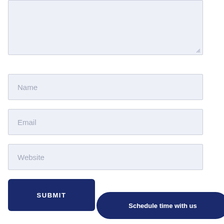[Figure (screenshot): A textarea form field with light blue-grey background and resize handle in bottom-right corner]
Name
Email
Website
SUBMIT
Schedule time with us